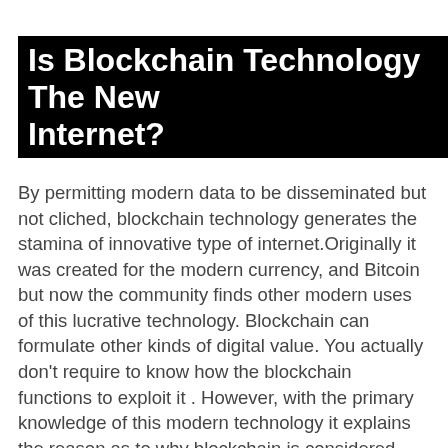Is Blockchain Technology The New Internet?
By permitting modern data to be disseminated but not cliched, blockchain technology generates the stamina of innovative type of internet.Originally it was created for the modern currency, and Bitcoin but now the community finds other modern uses of this lucrative technology. Blockchain can formulate other kinds of digital value. You actually don’t require to know how the blockchain functions to exploit it . However, with the primary knowledge of this modern technology it explains the reason as to why blockchain is considered revolutionary. Blockchain technology takes after the internet in that, it contains a built-in robustness. By store up of blocks of data that are similar across its network, the blockchain is exempted from controlling by any individual entity or rather having any single point of failure.
Toughness and authenticity of blockchain: